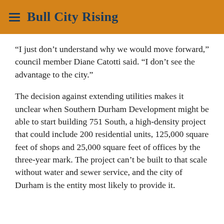Bull City Rising
“I just don’t understand why we would move forward,” council member Diane Catotti said. “I don’t see the advantage to the city.”
The decision against extending utilities makes it unclear when Southern Durham Development might be able to start building 751 South, a high-density project that could include 200 residential units, 125,000 square feet of shops and 25,000 square feet of offices by the three-year mark. The project can’t be built to that scale without water and sewer service, and the city of Durham is the entity most likely to provide it.